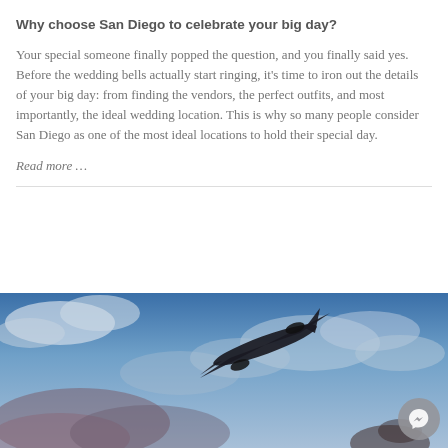Why choose San Diego to celebrate your big day?
Your special someone finally popped the question, and you finally said yes. Before the wedding bells actually start ringing, it's time to iron out the details of your big day: from finding the vendors, the perfect outfits, and most importantly, the ideal wedding location. This is why so many people consider San Diego as one of the most ideal locations to hold their special day.
Read more …
[Figure (photo): An airplane silhouetted against a blue and cloudy sky, with a person visible in the lower right. A circular Facebook Messenger button overlay is in the bottom-right corner.]